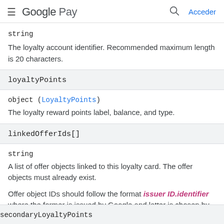Google Pay  Acceder
string
The loyalty account identifier. Recommended maximum length is 20 characters.
loyaltyPoints
object (LoyaltyPoints)
The loyalty reward points label, balance, and type.
linkedOfferIds[]
string
A list of offer objects linked to this loyalty card. The offer objects must already exist.
Offer object IDs should follow the format issuer ID.identifier where the former is issued by Google and latter is chosen by you.
secondaryLoyaltyPoints